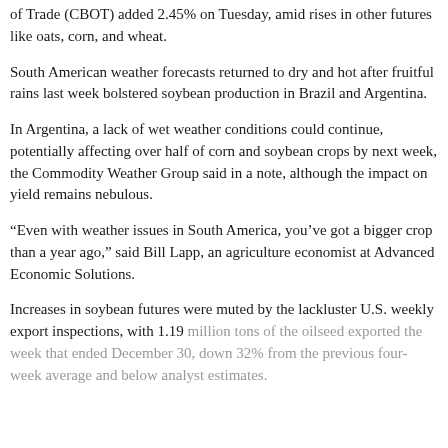of Trade (CBOT) added 2.45% on Tuesday, amid rises in other futures like oats, corn, and wheat.
South American weather forecasts returned to dry and hot after fruitful rains last week bolstered soybean production in Brazil and Argentina.
In Argentina, a lack of wet weather conditions could continue, potentially affecting over half of corn and soybean crops by next week, the Commodity Weather Group said in a note, although the impact on yield remains nebulous.
“Even with weather issues in South America, you’ve got a bigger crop than a year ago,” said Bill Lapp, an agriculture economist at Advanced Economic Solutions.
Increases in soybean futures were muted by the lackluster U.S. weekly export inspections, with 1.19 million tons of the oilseed exported the week that ended December 30, down 32% from the previous four-week average and below analyst estimates.